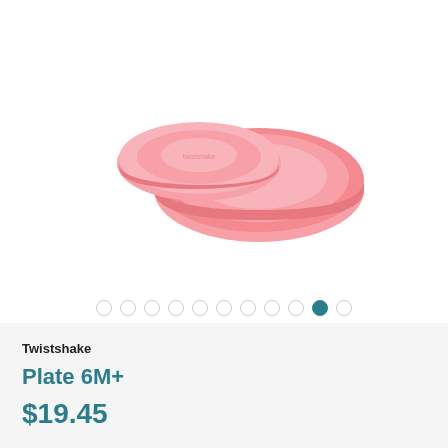[Figure (photo): Pink Twistshake plate with matching lid/cover, shown slightly separated, on white background. The plate is round with a low rim, and the lid is a flat circular cover. Both are pink/coral colored.]
Image carousel navigation dots — 11 dots total, 10th dot is active (filled teal), rest are empty circles
Twistshake
Plate 6M+
$19.45